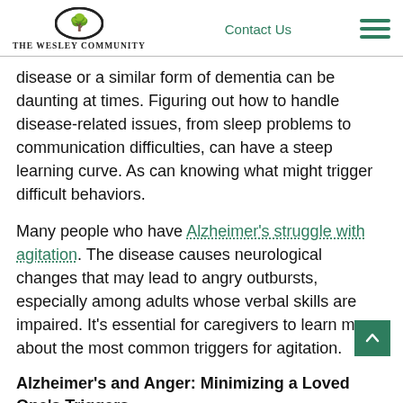THE WESLEY COMMUNITY | Contact Us
disease or a similar form of dementia can be daunting at times. Figuring out how to handle disease-related issues, from sleep problems to communication difficulties, can have a steep learning curve. As can knowing what might trigger difficult behaviors.
Many people who have Alzheimer’s struggle with agitation. The disease causes neurological changes that may lead to angry outbursts, especially among adults whose verbal skills are impaired. It’s essential for caregivers to learn more about the most common triggers for agitation.
Alzheimer’s and Anger: Minimizing a Loved One’s Triggers